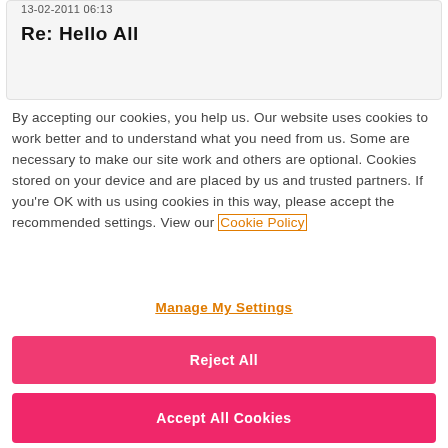13-02-2011 06:13
Re: Hello All
By accepting our cookies, you help us. Our website uses cookies to work better and to understand what you need from us. Some are necessary to make our site work and others are optional. Cookies stored on your device and are placed by us and trusted partners. If you're OK with us using cookies in this way, please accept the recommended settings. View our Cookie Policy
Manage My Settings
Reject All
Accept All Cookies